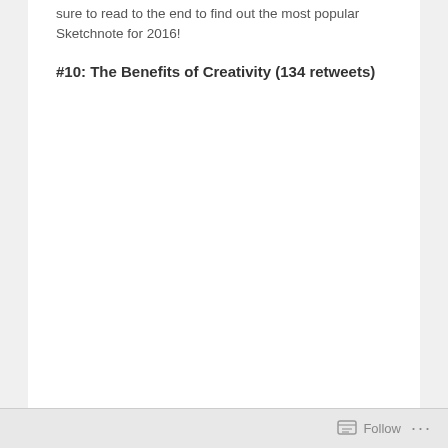sure to read to the end to find out the most popular Sketchnote for 2016!
#10: The Benefits of Creativity (134 retweets)
Follow ...